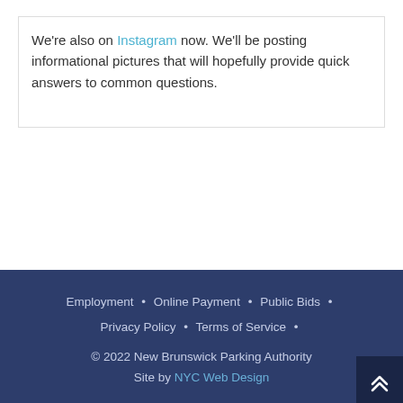We're also on Instagram now. We'll be posting informational pictures that will hopefully provide quick answers to common questions.
Employment • Online Payment • Public Bids • Privacy Policy • Terms of Service • © 2022 New Brunswick Parking Authority Site by NYC Web Design